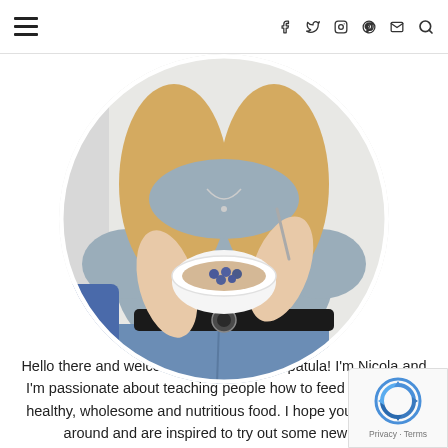hamburger menu icon, social icons: f, twitter, instagram, pinterest, mail, search
[Figure (photo): A woman wearing a grey t-shirt and jeans with a black belt, holding a white bowl of food with blueberries and a spoon. The photo is cropped in a circle.]
Hello there and welcome to The Wonky Spatula! I'm Nicola and I'm passionate about teaching people how to feed themselves healthy, wholesome and nutritious food. I hope you enjoy look around and are inspired to try out some new dis…